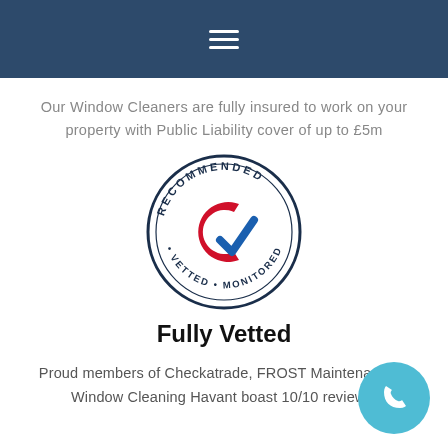≡
Our Window Cleaners are fully insured to work on your property with Public Liability cover of up to £5m
[Figure (logo): Checkatrade Recommended Vetted Monitored circular badge with red C and blue checkmark]
Fully Vetted
Proud members of Checkatrade, FROST Maintenance & Window Cleaning Havant boast 10/10 reviews.